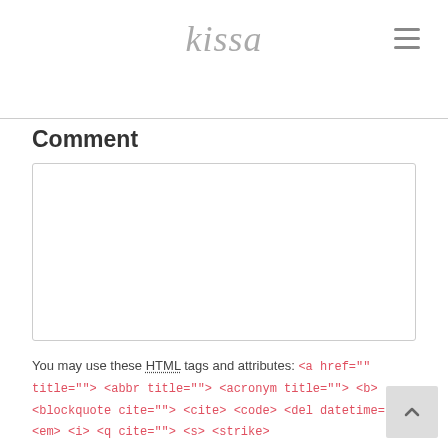kissa
Comment
You may use these HTML tags and attributes: <a href="" title=""> <abbr title=""> <acronym title=""> <b> <blockquote cite=""> <cite> <code> <del datetime=""> <em> <i> <q cite=""> <s> <strike> <strong>